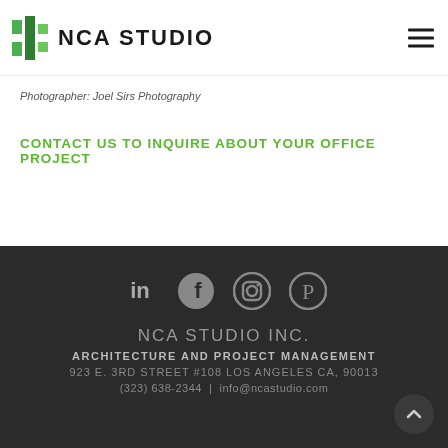NCA STUDIO
Photographer: Joel Sirs Photography
CONTACT US TO INQUIRE ABOUT YOUR OFFICE PROJECT
[Figure (logo): Social media icons: LinkedIn, Facebook, Instagram, Pinterest]
NCA STUDIO INC.
ARCHITECTURE AND PROJECT MANAGEMENT
923 E. 3RD STREET #108 LOS ANGELES CA, 90013
(323) 638-2344 | info@ncastudio.com